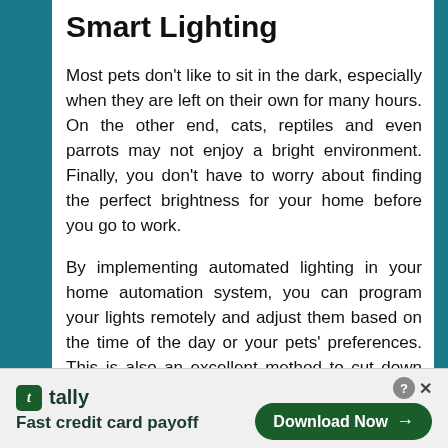Smart Lighting
Most pets don't like to sit in the dark, especially when they are left on their own for many hours. On the other end, cats, reptiles and even parrots may not enjoy a bright environment. Finally, you don't have to worry about finding the perfect brightness for your home before you go to work.
By implementing automated lighting in your home automation system, you can program your lights remotely and adjust them based on the time of the day or your pets' preferences. This is also an excellent method to cut down on energy costs because you will not have to leave the light on all day if you plan to leave your pets on their own from morning to evening. For a better result, try
[Figure (other): Tally advertisement banner: logo, 'Fast credit card payoff' tagline, and 'Download Now' button with arrow]